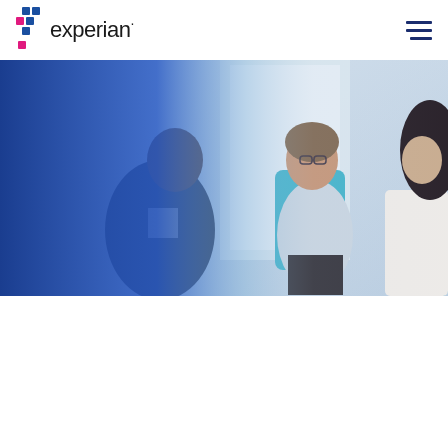Experian logo and navigation
[Figure (photo): Three people in a meeting or consultation setting. A man in a dark suit on the left, a woman with glasses in the center wearing a light blue shirt seated on a turquoise chair, and a woman with dark hair on the right. The left portion of the image has a blue overlay/gradient. Office or meeting room environment with soft lighting.]